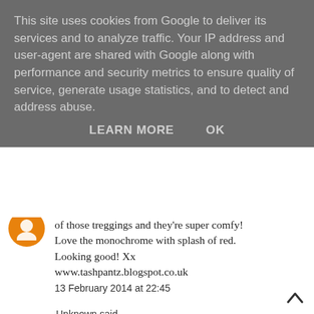This site uses cookies from Google to deliver its services and to analyze traffic. Your IP address and user-agent are shared with Google along with performance and security metrics to ensure quality of service, generate usage statistics, and to detect and address abuse.
LEARN MORE   OK
of those treggings and they're super comfy! Love the monochrome with splash of red. Looking good! Xx
www.tashpantz.blogspot.co.uk
13 February 2014 at 22:45
Unknown said...
This is so cute! Love the whole look and love your hair! xxx
Secret little Stars
www.secretlittlestars.com
13 February 2014 at 23:12
Zoe Barson said...
You look so great! Love this outfit xo